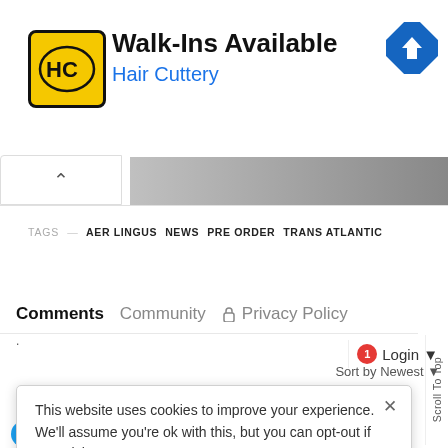[Figure (screenshot): Hair Cuttery advertisement banner with yellow logo showing HC initials, headline 'Walk-Ins Available', brand name 'Hair Cuttery' in blue, and blue navigation diamond icon on the right.]
TAGS — AER LINGUS NEWS PRE ORDER TRANS ATLANTIC
Comments Community 🔒 Privacy Policy
This website uses cookies to improve your experience. We'll assume you're ok with this, but you can opt-out if you wish.
I ACCEPT USE OF COOKIES
1 Login ▼
Sort by Newest ▼
Scroll To Top